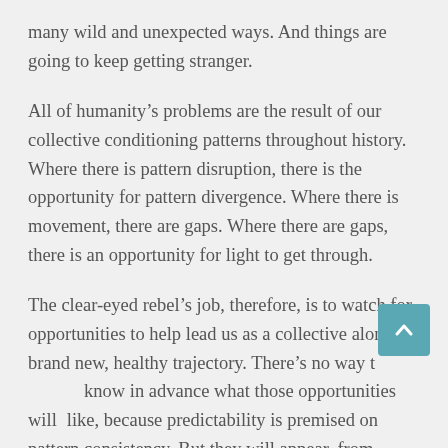many wild and unexpected ways. And things are going to keep getting stranger.
All of humanity’s problems are the result of our collective conditioning patterns throughout history. Where there is pattern disruption, there is the opportunity for pattern divergence. Where there is movement, there are gaps. Where there are gaps, there is an opportunity for light to get through.
The clear-eyed rebel’s job, therefore, is to watch for opportunities to help lead us as a collective along a brand new, healthy trajectory. There’s no way to know in advance what those opportunities will like, because predictability is premised on pattern consistency. But they will appear, from